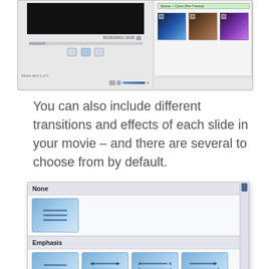[Figure (screenshot): Screenshot of a media player application showing a video preview, playback controls, progress bar with time 00:08:00/01:18:00, a playlist with 'Space - Cynic (Re-Traced)' item, and three thumbnail images of space/nature scenes.]
You can also include different transitions and effects of each slide in your movie – and there are several to choose from by default.
[Figure (screenshot): Screenshot of a transitions/effects panel showing categories: 'None' with one icon, 'Emphasis' with four effect icons showing different animation arrows, and 'Fly' with two effect icons, plus a scrollbar on the right side.]